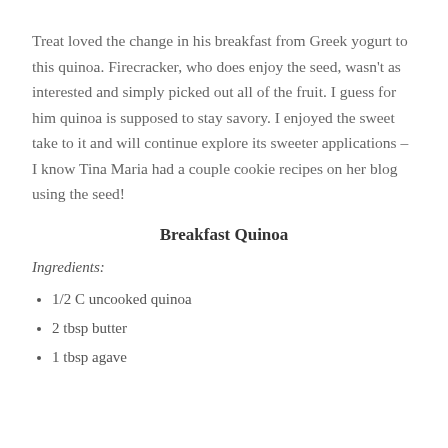Treat loved the change in his breakfast from Greek yogurt to this quinoa. Firecracker, who does enjoy the seed, wasn't as interested and simply picked out all of the fruit. I guess for him quinoa is supposed to stay savory. I enjoyed the sweet take to it and will continue explore its sweeter applications – I know Tina Maria had a couple cookie recipes on her blog using the seed!
Breakfast Quinoa
Ingredients:
1/2 C uncooked quinoa
2 tbsp butter
1 tbsp agave